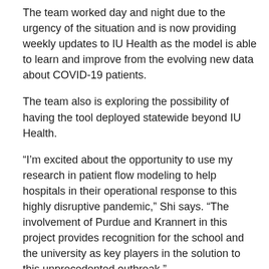The team worked day and night due to the urgency of the situation and is now providing weekly updates to IU Health as the model is able to learn and improve from the evolving new data about COVID-19 patients.
The team also is exploring the possibility of having the tool deployed statewide beyond IU Health.
“I’m excited about the opportunity to use my research in patient flow modeling to help hospitals in their operational response to this highly disruptive pandemic,” Shi says. “The involvement of Purdue and Krannert in this project provides recognition for the school and the university as key players in the solution to this unprecedented outbreak.”
“This effort shows the incredible talent and hardworking nature of our faculty,” says Idalene “Idie” Kesner, dean of the Kelley School and the Frank P. Popoff Chair of Strategic Management. “It also shows how Hoosiers come together from across the state for the benefit of the Indiana community.”
David Hummels, the Dr. Samuel R. Allen Dean of the Krannert